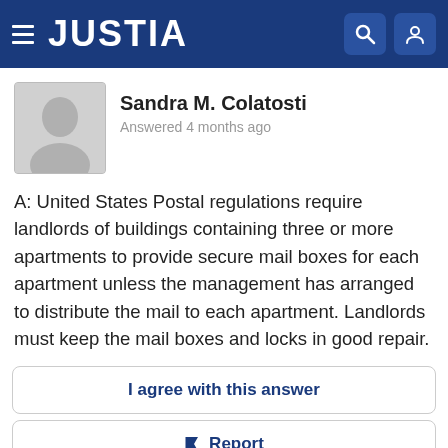JUSTIA
[Figure (illustration): Silhouette avatar of a person in a gray rounded rectangle, profile photo placeholder for Sandra M. Colatosti]
Sandra M. Colatosti
Answered 4 months ago
A: United States Postal regulations require landlords of buildings containing three or more apartments to provide secure mail boxes for each apartment unless the management has arranged to distribute the mail to each apartment. Landlords must keep the mail boxes and locks in good repair.
I agree with this answer
Report